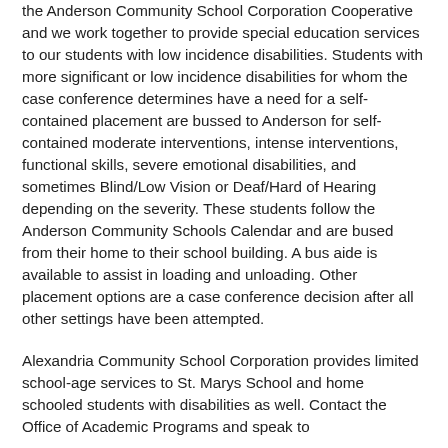the Anderson Community School Corporation Cooperative and we work together to provide special education services to our students with low incidence disabilities. Students with more significant or low incidence disabilities for whom the case conference determines have a need for a self-contained placement are bussed to Anderson for self-contained moderate interventions, intense interventions, functional skills, severe emotional disabilities, and sometimes Blind/Low Vision or Deaf/Hard of Hearing depending on the severity. These students follow the Anderson Community Schools Calendar and are bused from their home to their school building. A bus aide is available to assist in loading and unloading. Other placement options are a case conference decision after all other settings have been attempted.
Alexandria Community School Corporation provides limited school-age services to St. Marys School and home schooled students with disabilities as well. Contact the Office of Academic Programs and speak to